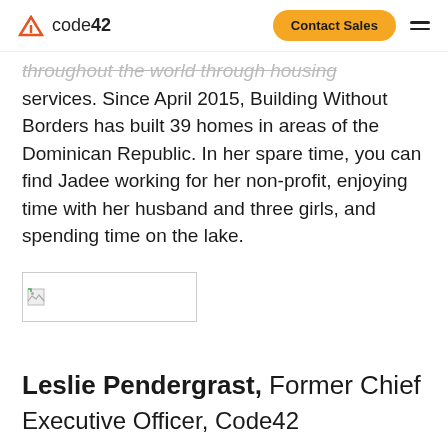code42   Contact Sales
throughout the world through housing services. Since April 2015, Building Without Borders has built 39 homes in areas of the Dominican Republic. In her spare time, you can find Jadee working for her non-profit, enjoying time with her husband and three girls, and spending time on the lake.
[Figure (photo): Broken image placeholder thumbnail]
Leslie Pendergrast, Former Chief Executive Officer, Code42